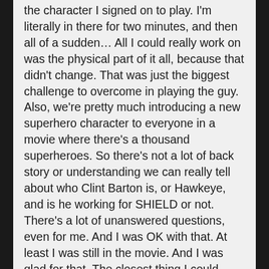the character I signed on to play. I'm literally in there for two minutes, and then all of a sudden… All I could really work on was the physical part of it all, because that didn't change. That was just the biggest challenge to overcome in playing the guy. Also, we're pretty much introducing a new superhero character to everyone in a movie where there's a thousand superheroes. So there's not a lot of back story or understanding we can really tell about who Clint Barton is, or Hawkeye, and is he working for SHIELD or not. There's a lot of unanswered questions, even for me. And I was OK with that. At least I was still in the movie. And I was glad for that. The closest thing I could really link to was Scarlett [Johansson's] character, Black Widow, because they have a history. And that definitely plays in the movie, I think. And obviously, you can't go into too much just because there's so much story to tell, but you definitely get a sense that they're connected, and